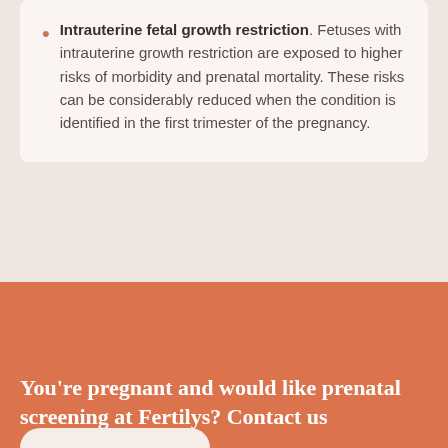Intrauterine fetal growth restriction. Fetuses with intrauterine growth restriction are exposed to higher risks of morbidity and prenatal mortality. These risks can be considerably reduced when the condition is identified in the first trimester of the pregnancy.
You’re pregnant and would like prenatal screening at Fertilys? Contact us